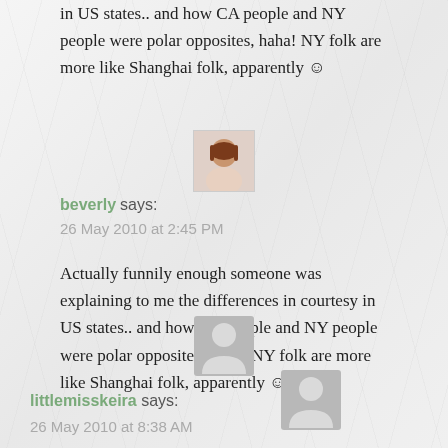in US states.. and how CA people and NY people were polar opposites, haha! NY folk are more like Shanghai folk, apparently ☺
[Figure (photo): Small avatar photo of beverly, a woman with reddish-brown hair]
beverly says:
26 May 2010 at 2:45 PM
Actually funnily enough someone was explaining to me the differences in courtesy in US states.. and how CA people and NY people were polar opposites, haha! NY folk are more like Shanghai folk, apparently ☺
[Figure (illustration): Generic gray person/anon avatar placeholder icon]
littlemisskeira says:
26 May 2010 at 8:38 AM